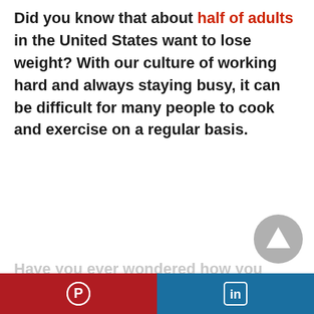Did you know that about half of adults in the United States want to lose weight? With our culture of working hard and always staying busy, it can be difficult for many people to cook and exercise on a regular basis.
Have you ever wondered how you create smart goals for weight loss that you can actually
[Figure (other): Show Full Article button - black rounded rectangle button with white bold text]
[Figure (other): Scroll to top button - grey circle with white triangle/arrow pointing up]
[Figure (other): Footer social sharing bar with Pinterest (red, left) and LinkedIn (blue, right) icons]